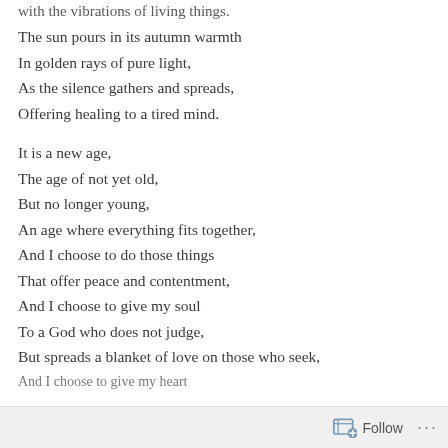with the vibrations of living things.
The sun pours in its autumn warmth
In golden rays of pure light,
As the silence gathers and spreads,
Offering healing to a tired mind.
It is a new age,
The age of not yet old,
But no longer young,
An age where everything fits together,
And I choose to do those things
That offer peace and contentment,
And I choose to give my soul
To a God who does not judge,
But spreads a blanket of love on those who seek,
And I choose to give my heart
Follow ...